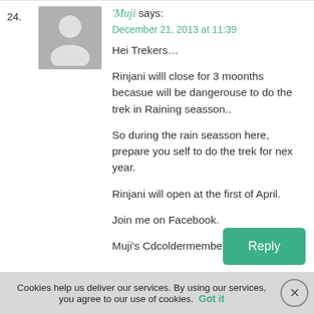24.
[Figure (illustration): Grey avatar silhouette placeholder image]
'Muji says:
December 21, 2013 at 11:39
Hei Trekers…

Rinjani willl close for 3 moonths becasue will be dangerouse to do the trek in Raining seasson..

So during the rain seasson here, prepare you self to do the trek for nex year.

Rinjani will open at the first of April.

Join me on Facebook.

Muji's Cdcoldermember
Reply
Cookies help us deliver our services. By using our services, you agree to our use of cookies. Got it